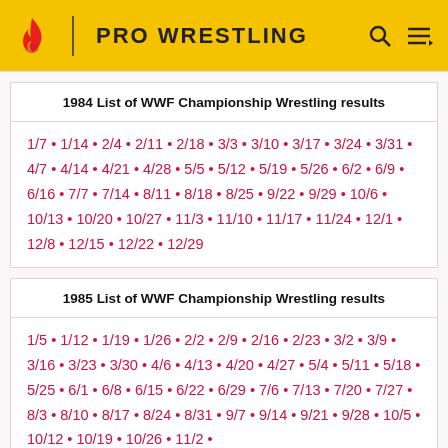PRO WRESTLING
1984 List of WWF Championship Wrestling results
1/7 • 1/14 • 2/4 • 2/11 • 2/18 • 3/3 • 3/10 • 3/17 • 3/24 • 3/31 • 4/7 • 4/14 • 4/21 • 4/28 • 5/5 • 5/12 • 5/19 • 5/26 • 6/2 • 6/9 • 6/16 • 7/7 • 7/14 • 8/11 • 8/18 • 8/25 • 9/22 • 9/29 • 10/6 • 10/13 • 10/20 • 10/27 • 11/3 • 11/10 • 11/17 • 11/24 • 12/1 • 12/8 • 12/15 • 12/22 • 12/29
1985 List of WWF Championship Wrestling results
1/5 • 1/12 • 1/19 • 1/26 • 2/2 • 2/9 • 2/16 • 2/23 • 3/2 • 3/9 • 3/16 • 3/23 • 3/30 • 4/6 • 4/13 • 4/20 • 4/27 • 5/4 • 5/11 • 5/18 • 5/25 • 6/1 • 6/8 • 6/15 • 6/22 • 6/29 • 7/6 • 7/13 • 7/20 • 7/27 • 8/3 • 8/10 • 8/17 • 8/24 • 8/31 • 9/7 • 9/14 • 9/21 • 9/28 • 10/5 • 10/12 • 10/19 • 10/26 • 11/2 •